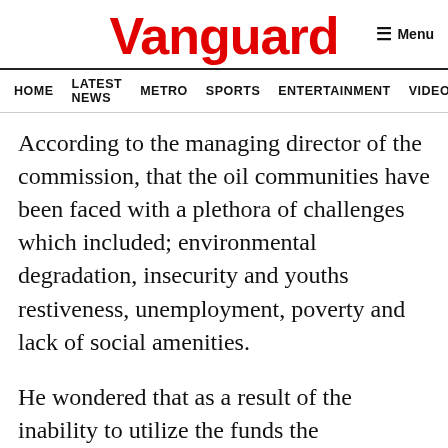Vanguard
HOME  LATEST NEWS  METRO  SPORTS  ENTERTAINMENT  VIDEOS
According to the managing director of the commission, that the oil communities have been faced with a plethora of challenges which included; environmental degradation, insecurity and youths restiveness, unemployment, poverty and lack of social amenities.
He wondered that as a result of the inability to utilize the funds the communities have remained underdeveloped.